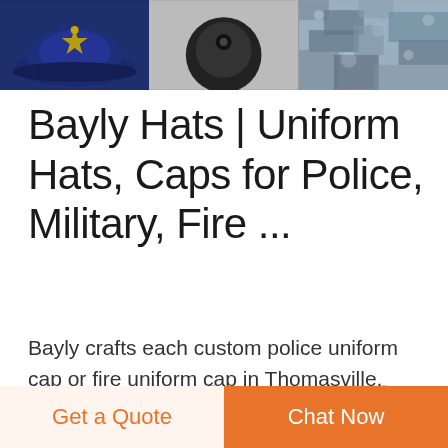[Figure (photo): Three product thumbnail images at top: a blue police uniform cap with gold emblem, a black cap top view, and camouflage fabric/uniform.]
Bayly Hats | Uniform Hats, Caps for Police, Military, Fire ...
Bayly crafts each custom police uniform cap or fire uniform cap in Thomasville, Georgia. Find out how to experience the difference now. Browse Police & Fire. Postal. Browse the collection of USPS certified headwear, sun helmets and more. Browse Postal.
[Figure (illustration): Three small circular badge/target icons partially visible at bottom of content area.]
Get a Quote
Chat Now